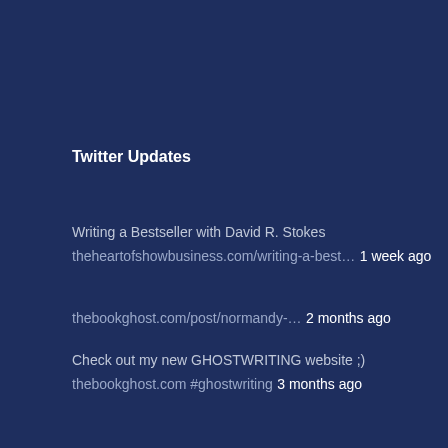Twitter Updates
Writing a Bestseller with David R. Stokes theheartofshowbusiness.com/writing-a-best… 1 week ago
thebookghost.com/post/normandy-… 2 months ago
Check out my new GHOSTWRITING website ;) thebookghost.com #ghostwriting 3 months ago
David On Facebook
Venture Galleries Authors Collection
[Figure (other): Small image thumbnail at bottom left]